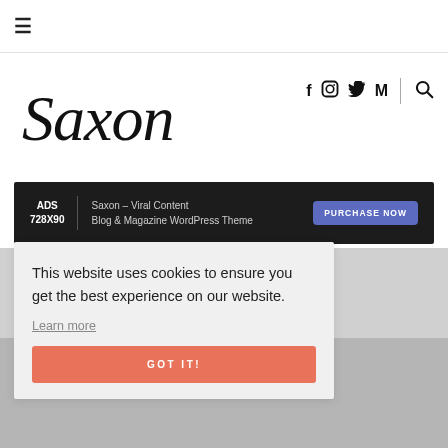☰ (hamburger menu icon)
[Figure (logo): Saxon cursive logo text in italic style]
[Figure (infographic): Social media icons: Facebook (f), Instagram, Twitter, Medium, and search icon]
ADS 728X90 | Saxon – Viral Content Blog & Magazine WordPress Theme | PURCHASE NOW
This website uses cookies to ensure you get the best experience on our website.
Learn more
GOT IT!